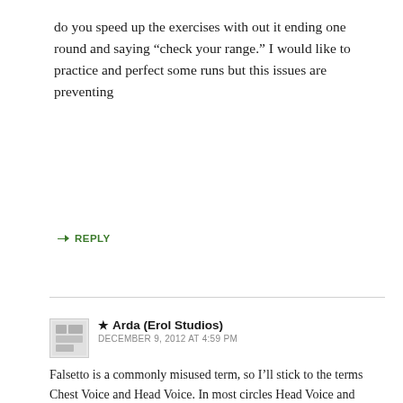do you speed up the exercises with out it ending one round and saying “check your range.” I would like to practice and perfect some runs but this issues are preventing
➜ REPLY
★ Arda (Erol Studios)
DECEMBER 9, 2012 AT 4:59 PM
Falsetto is a commonly misused term, so I’ll stick to the terms Chest Voice and Head Voice. In most circles Head Voice and Falsetto are used interchangeably, while others refer to a weak/breathy Head voice as Falsetto.
You should work on building both your Chest voice and Head voice, so yes, you should practice your higher notes up to the point that feels comfortable. With practice, your Head voice should get stronger and